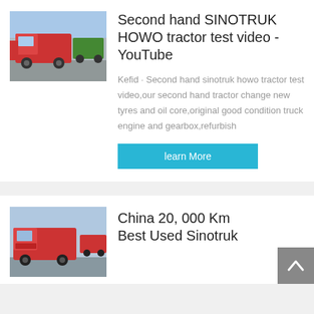[Figure (photo): Red SINOTRUK HOWO tractor trucks parked in a lot]
Second hand SINOTRUK HOWO tractor test video - YouTube
Kefid · Second hand sinotruk howo tractor test video,our second hand tractor change new tyres and oil core,original good condition truck engine and gearbox,refurbish
learn More
[Figure (photo): Red SINOTRUK used tractor truck]
China 20, 000 Km Best Used Sinotruk